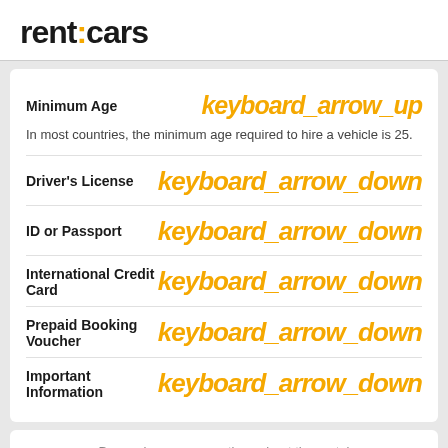[Figure (logo): rentcars logo with orange colon/dot between 'rent' and 'cars']
Minimum Age
keyboard_arrow_up
In most countries, the minimum age required to hire a vehicle is 25.
Driver's License
keyboard_arrow_down
ID or Passport
keyboard_arrow_down
International Credit Card
keyboard_arrow_down
Prepaid Booking Voucher
keyboard_arrow_down
Important Information
keyboard_arrow_down
Do you have any questions about the rental